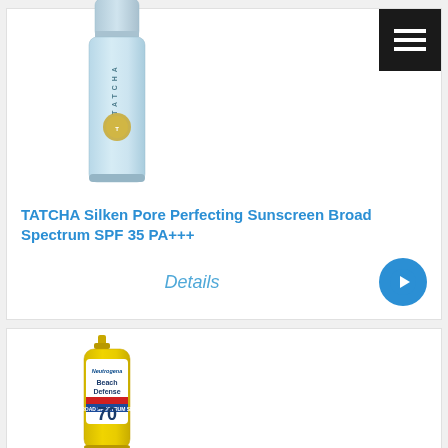[Figure (photo): TATCHA Silken Pore Perfecting Sunscreen tube product photo - light blue tube with gold emblem]
TATCHA Silken Pore Perfecting Sunscreen Broad Spectrum SPF 35 PA+++
Details →
[Figure (photo): Neutrogena Beach Defense SPF 70 spray sunscreen product photo - yellow aerosol can]